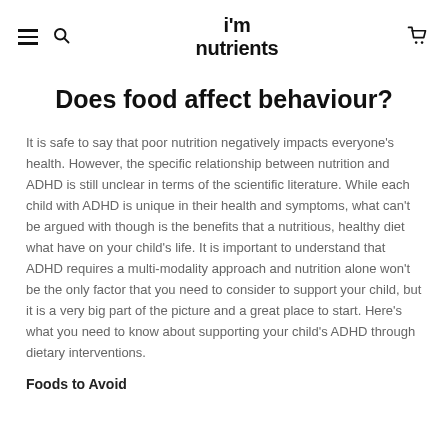i'm nutrients
Does food affect behaviour?
It is safe to say that poor nutrition negatively impacts everyone's health. However, the specific relationship between nutrition and ADHD is still unclear in terms of the scientific literature. While each child with ADHD is unique in their health and symptoms, what can't be argued with though is the benefits that a nutritious, healthy diet what have on your child's life. It is important to understand that ADHD requires a multi-modality approach and nutrition alone won't be the only factor that you need to consider to support your child, but it is a very big part of the picture and a great place to start. Here's what you need to know about supporting your child's ADHD through dietary interventions.
Foods to Avoid